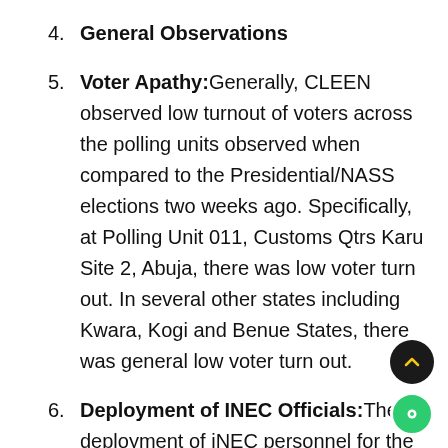4. General Observations
5. Voter Apathy: Generally, CLEEN observed low turnout of voters across the polling units observed when compared to the Presidential/NASS elections two weeks ago. Specifically, at Polling Unit 011, Customs Qtrs Karu Site 2, Abuja, there was low voter turn out. In several other states including Kwara, Kogi and Benue States, there was general low voter turn out.
6. Deployment of INEC Officials: The deployment of iNEC personnel for the Governorship/NASS elections indicates